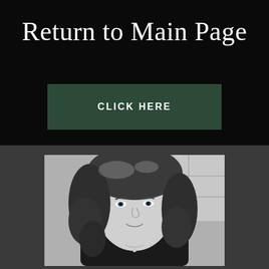Return to Main Page
CLICK HERE
[Figure (photo): Black and white portrait photograph of a woman with long curly hair, looking slightly to the side with a subtle smile, wearing a dark top, with a grid-like background visible behind her.]